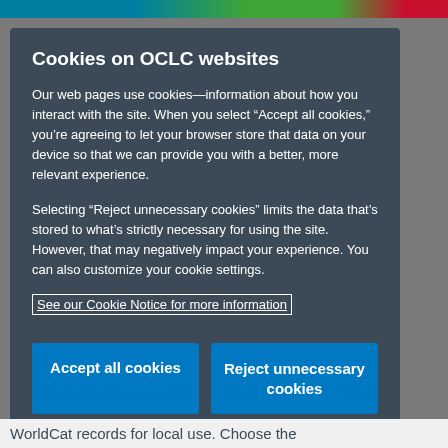Cookies on OCLC websites
Our web pages use cookies—information about how you interact with the site. When you select “Accept all cookies,” you’re agreeing to let your browser store that data on your device so that we can provide you with a better, more relevant experience.
Selecting “Reject unnecessary cookies” limits the data that’s stored to what’s strictly necessary for using the site. However, that may negatively impact your experience. You can also customize your cookie settings.
See our Cookie Notice for more information
Accept all cookies
Reject unnecessary cookies
Customize cookie
WorldCat records for local use. Choose the